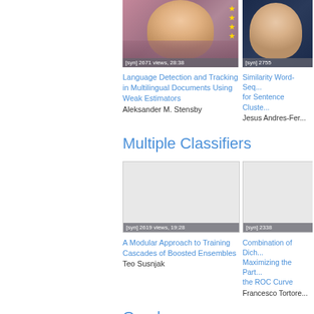[Figure (screenshot): Video thumbnail showing a person with pink/purple background and star ratings]
[Figure (screenshot): Video thumbnail showing a person against dark background (partially visible)]
Language Detection and Tracking in Multilingual Documents Using Weak Estimators
Aleksander M. Stensby
Similarity Word-Seq... for Sentence Cluste...
Jesus Andres-Fer...
Multiple Classifiers
[Figure (screenshot): Blank/loading video thumbnail with [syn] 2619 views, 19:28]
[Figure (screenshot): Partially visible video thumbnail with [syn] 2338...]
A Modular Approach to Training Cascades of Boosted Ensembles
Teo Susnjak
Combination of Dich... Maximizing the Part... the ROC Curve
Francesco Tortore...
Graphs
[Figure (screenshot): Video thumbnail placeholder at bottom (partially visible)]